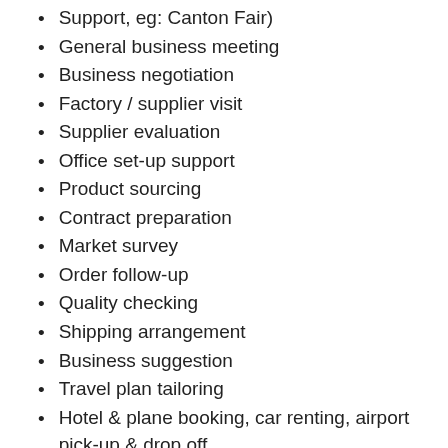Support, eg: Canton Fair)
General business meeting
Business negotiation
Factory / supplier visit
Supplier evaluation
Office set-up support
Product sourcing
Contract preparation
Market survey
Order follow-up
Quality checking
Shipping arrangement
Business suggestion
Travel plan tailoring
Hotel & plane booking, car renting, airport pick-up & drop off
Shopping and look-around guidance